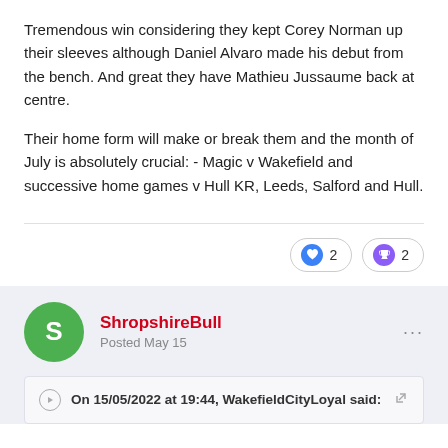Tremendous win considering they kept Corey Norman up their sleeves although Daniel Alvaro made his debut from the bench. And great they have Mathieu Jussaume back at centre.
Their home form will make or break them and the month of July is absolutely crucial: - Magic v Wakefield and successive home games v Hull KR, Leeds, Salford and Hull.
[Figure (infographic): Reaction badges: heart icon with count 2, trophy icon with count 2]
ShropshireBull
Posted May 15
On 15/05/2022 at 19:44, WakefieldCityLoyal said: